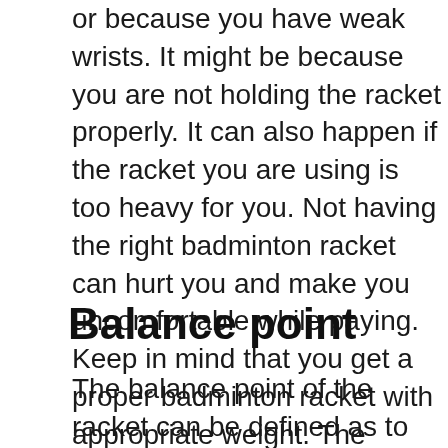or because you have weak wrists. It might be because you are not holding the racket properly. It can also happen if the racket you are using is too heavy for you. Not having the right badminton racket can hurt you and make you uncomfortable while paying. Keep in mind that you get a proper badminton racket with appropriate weight. The weight of the racket is determined bu the unit U. The smaller the number with it the heavier the racket is.
Balance point
The balance point of the racket can be defined as to where the most mass of the racket is accumulated. If it is accumulated at the top of the racket then it is called Head